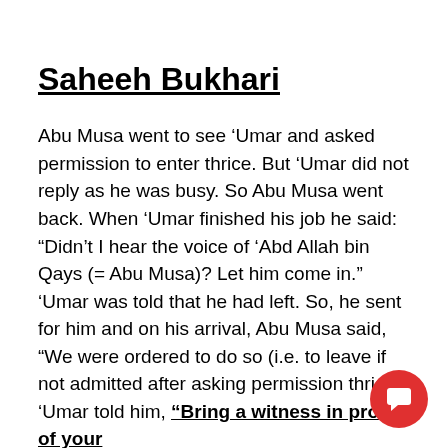Saheeh Bukhari
Abu Musa went to see ‘Umar and asked permission to enter thrice. But ‘Umar did not reply as he was busy. So Abu Musa went back. When ‘Umar finished his job he said: “Didn’t I hear the voice of ‘Abd Allah bin Qays (= Abu Musa)? Let him come in.” ‘Umar was told that he had left. So, he sent for him and on his arrival, Abu Musa said, “We were ordered to do so (i.e. to leave if not admitted after asking permission thrice). ‘Umar told him, “Bring a witness in proof of your